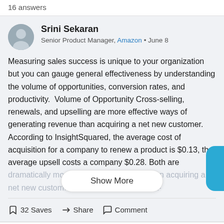16 answers
Srini Sekaran
Senior Product Manager, Amazon • June 8
Measuring sales success is unique to your organization but you can gauge general effectiveness by understanding the volume of opportunities, conversion rates, and productivity.  Volume of Opportunity Cross-selling, renewals, and upselling are more effective ways of generating revenue than acquiring a net new customer. According to InsightSquared, the average cost of acquisition for a company to renew a product is $0.13, the average upsell costs a company $0.28. Both are dramatically more cost-effective moves than acquiring a net new custom... These cost-
Show More
32 Saves
Share
Comment
Sunny Manivannan